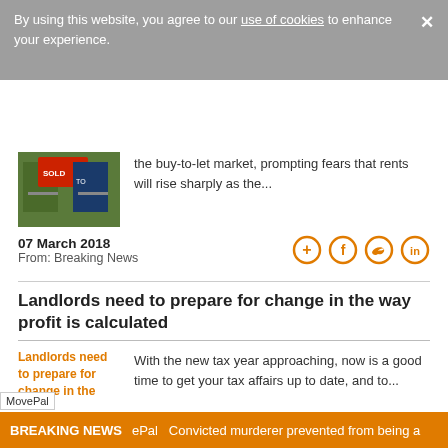By using this website, you agree to our use of cookies to enhance your experience.
the buy-to-let market, prompting fears that rents will rise sharply as the...
07 March 2018
From: Breaking News
Landlords need to prepare for change in the way profit is calculated
With the new tax year approaching, now is a good time to get your tax affairs up to date, and to...
07 March 2018
From: Breaking News
BREAKING NEWS  ePal  Convicted murderer prevented from being a